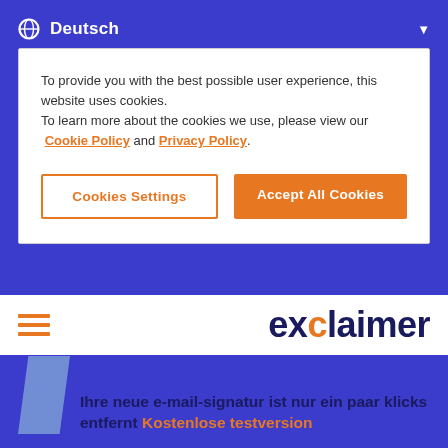Deutsch
To provide you with the best possible user experience, this website uses cookies.
To learn more about the cookies we use, please view our Cookie Policy and Privacy Policy.
Cookies Settings | Accept All Cookies
[Figure (logo): Exclaimer logo with hamburger menu icon]
Ihre neue e-mail-signatur ist nur ein paar klicks entfernt Kostenlose testversion